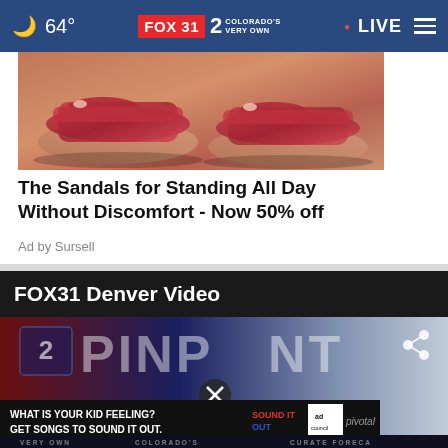🌙 64° | FOX 31 2 COLORADO'S VERY OWN | • LIVE ≡
[Figure (photo): Close-up photo of a woman's feet wearing red orthopedic sandals/flip-flops on a light-colored floor]
The Sandals for Standing All Day Without Discomfort - Now 50% off
Ad by Sursell
FOX31 Denver Video
[Figure (screenshot): FOX31 Denver video player showing PINPOINT weather segment with a video advertisement banner overlay reading 'WHAT IS YOUR KID FEELING? GET SONGS TO SOUND IT OUT.' with Sound It Out and Ad Council logos, and a share icon and close button visible]
VERY OWN  COLORADO'S  CURATE FORECA